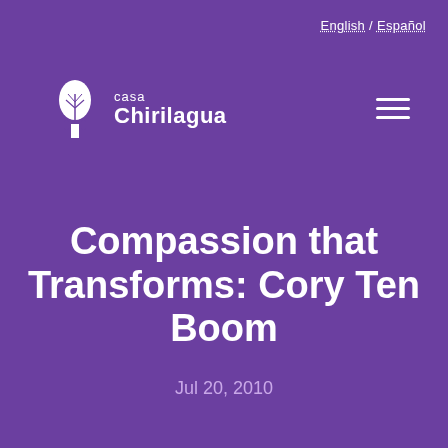English / Español
[Figure (logo): Casa Chirilagua logo with white tree icon and text 'casa Chirilagua' in white]
Compassion that Transforms: Cory Ten Boom
Jul 20, 2010